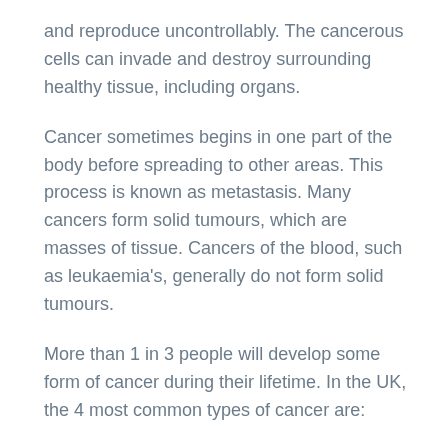and reproduce uncontrollably. The cancerous cells can invade and destroy surrounding healthy tissue, including organs.
Cancer sometimes begins in one part of the body before spreading to other areas. This process is known as metastasis. Many cancers form solid tumours, which are masses of tissue. Cancers of the blood, such as leukaemia's, generally do not form solid tumours.
More than 1 in 3 people will develop some form of cancer during their lifetime. In the UK, the 4 most common types of cancer are:
breast cancer
lung cancer